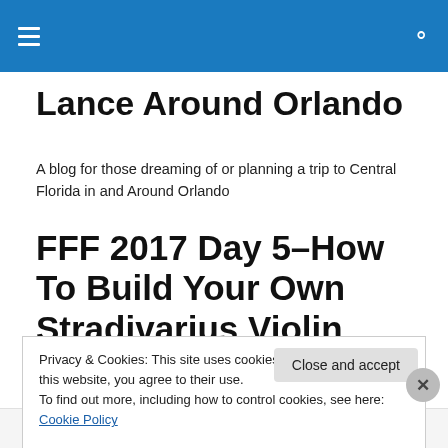Lance Around Orlando (navigation bar with hamburger menu and search icon)
Lance Around Orlando
A blog for those dreaming of or planning a trip to Central Florida in and Around Orlando
FFF 2017 Day 5–How To Build Your Own Stradivarius Violin
Privacy & Cookies: This site uses cookies. By continuing to use this website, you agree to their use.
To find out more, including how to control cookies, see here: Cookie Policy
Close and accept
Advertisements